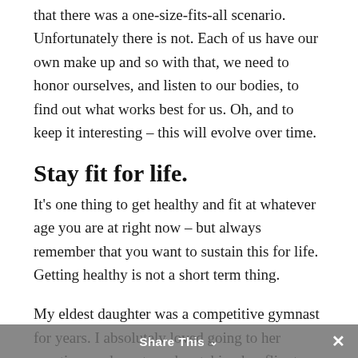that there was a one-size-fits-all scenario. Unfortunately there is not. Each of us have our own make up and so with that, we need to honor ourselves, and listen to our bodies, to find out what works best for us. Oh, and to keep it interesting – this will evolve over time.
Stay fit for life.
It's one thing to get healthy and fit at whatever age you are at right now – but always remember that you want to sustain this for life. Getting healthy is not a short term thing.
My eldest daughter was a competitive gymnast for years. I absolutely loved going to her practices and meets and watching her flip, turn and fly. But as the number of ankle braces and
Share This ∨  ✕